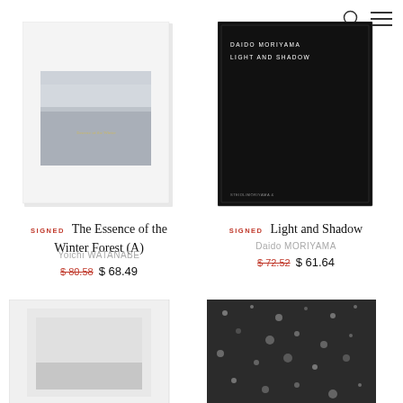[Figure (screenshot): Search icon and hamburger menu icon in top-right corner]
[Figure (photo): Book cover: The Essence of the Winter Forest (A) by Yoichi Watanabe - white cover with winter forest photo]
SIGNED  The Essence of the Winter Forest (A)
Yoichi WATANABE
$ 80.58  $ 68.49
[Figure (photo): Book cover: Light and Shadow by Daido Moriyama - black cover with white text]
SIGNED  Light and Shadow
Daido MORIYAMA
$ 72.52  $ 61.64
[Figure (photo): Bottom left book cover - partially visible, minimal light cover]
[Figure (photo): Bottom right book cover - partially visible, dark grainy texture]